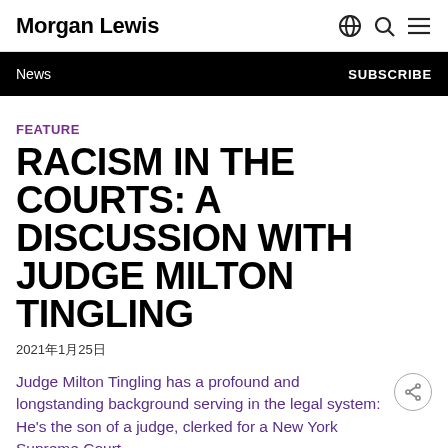Morgan Lewis
News | SUBSCRIBE
FEATURE
RACISM IN THE COURTS: A DISCUSSION WITH JUDGE MILTON TINGLING
2021年1月25日
Judge Milton Tingling has a profound and longstanding background serving in the legal system: He's the son of a judge, clerked for a New York Supreme Court